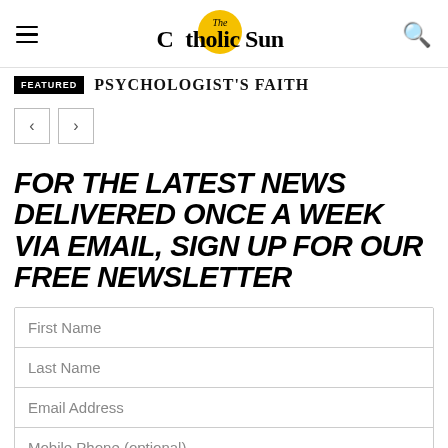The Catholic Sun
FEATURED  PSYCHOLOGIST'S FAITH
[Figure (other): Navigation arrow buttons (previous and next)]
FOR THE LATEST NEWS DELIVERED ONCE A WEEK VIA EMAIL, SIGN UP FOR OUR FREE NEWSLETTER
First Name
Last Name
Email Address
Mobile Phone (optional)